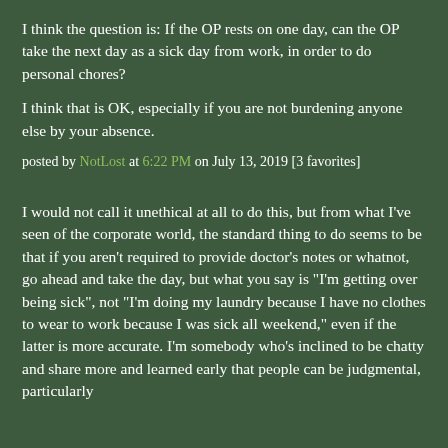I think the question is: If the OP rests on one day, can the OP take the next day as a sick day from work, in order to do personal chores?
I think that is OK, especially if you are not burdening anyone else by your absence.
posted by NotLost at 6:22 PM on July 13, 2019 [3 favorites]
I would not call it unethical at all to do this, but from what I've seen of the corporate world, the standard thing to do seems to be that if you aren't required to provide doctor's notes or whatnot, go ahead and take the day, but what you say is "I'm getting over being sick", not "I'm doing my laundry because I have no clothes to wear to work because I was sick all weekend," even if the latter is more accurate. I'm somebody who's inclined to be chatty and share more and learned early that people can be judgmental, particularly